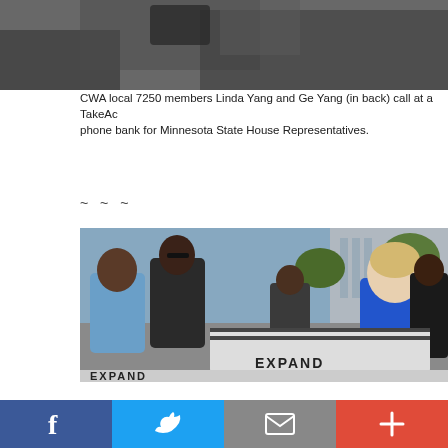[Figure (photo): Partial photo showing people at a phone bank event, cropped at top — hands and upper torso visible]
CWA local 7250 members Linda Yang and Ge Yang (in back) call at a TakeAc phone bank for Minnesota State House Representatives.
~ ~ ~
[Figure (photo): Group of people at an outdoor rally or event. A woman in a blue sweater is prominent, leaning on a sign that reads EXPAND. Several other people in the background, some wearing black with CWA logos. Trees and a building visible in the background.]
EXPAND
[Figure (infographic): Social sharing bar with four buttons: Facebook (blue), Twitter (light blue), Email (gray), and Plus/More (red-orange)]